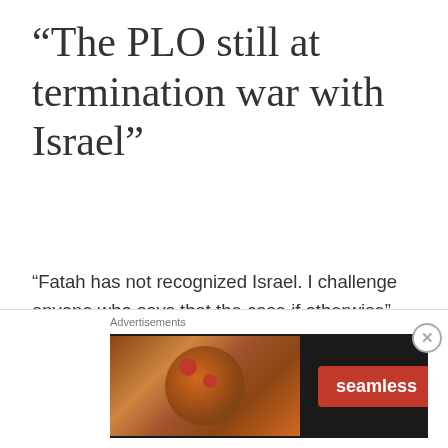“The PLO still at termination war with Israel”
“Fatah has not recognized Israel. I challenge anyone who says that the case if otherwise” These are the words of Azzam al-Ahmed. Fatah has never recognized Israel’s right to exist and will never do so, according to Azzam al-Ahmed,
[Figure (screenshot): Advertisement banner for Seamless food ordering service. Shows pizza image on left, Seamless logo in red badge in center, ORDER NOW button on right, all on dark background.]